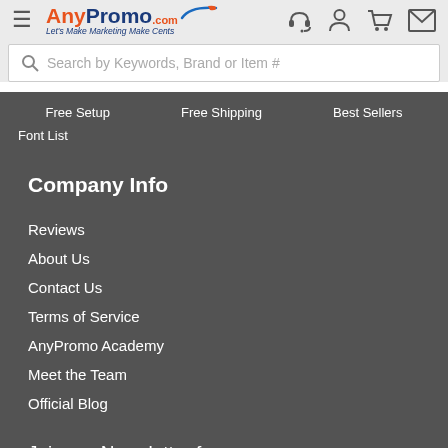[Figure (logo): AnyPromo.com logo with swoosh, tagline 'Let's Make Marketing Make Cents']
Search by Keywords, Brand or Item #
Free Setup
Free Shipping
Best Sellers
Font List
Company Info
Reviews
About Us
Contact Us
Terms of Service
AnyPromo Academy
Meet the Team
Official Blog
Join our Newsletter for